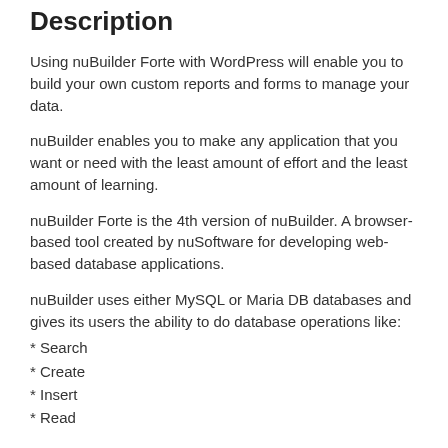Description
Using nuBuilder Forte with WordPress will enable you to build your own custom reports and forms to manage your data.
nuBuilder enables you to make any application that you want or need with the least amount of effort and the least amount of learning.
nuBuilder Forte is the 4th version of nuBuilder. A browser-based tool created by nuSoftware for developing web-based database applications.
nuBuilder uses either MySQL or Maria DB databases and gives its users the ability to do database operations like:
* Search
* Create
* Insert
* Read